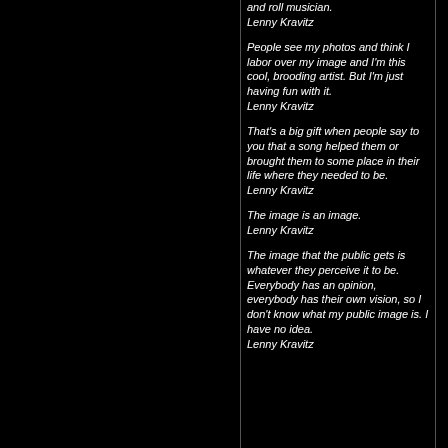and roll musician. Lenny Kravitz
People see my photos and think I labor over my image and I'm this cool, brooding artist. But I'm just having fun with it. Lenny Kravitz
That's a big gift when people say to you that a song helped them or brought them to some place in their life where they needed to be. Lenny Kravitz
The image is an image. Lenny Kravitz
The image that the public gets is whatever they perceive it to be. Everybody has an opinion, everybody has their own vision, so I don't know what my public image is. I have no idea. Lenny Kravitz